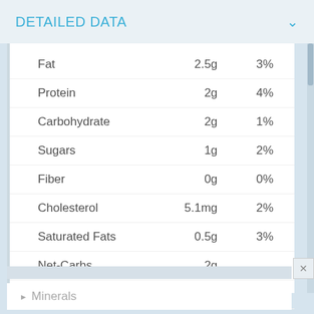DETAILED DATA
|  | Amount | % |
| --- | --- | --- |
| Fat | 2.5g | 3% |
| Protein | 2g | 4% |
| Carbohydrate | 2g | 1% |
| Sugars | 1g | 2% |
| Fiber | 0g | 0% |
| Cholesterol | 5.1mg | 2% |
| Saturated Fats | 0.5g | 3% |
| Net-Carbs | 2g |  |
| Trans Fatty Acids | 0g |  |
Minerals